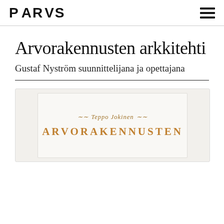PARVS
Arvorakennusten arkkitehti
Gustaf Nyström suunnittelijana ja opettajana
[Figure (illustration): Partial view of book cover with author name 'Teppo Jokinen' in italic gold text with decorative tildes, and partially visible uppercase gold title text below]